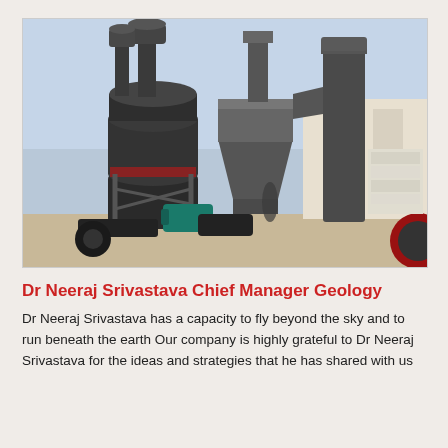[Figure (photo): Industrial grinding/milling machinery with large dark metal cylindrical units, pipes, and dust collection equipment, photographed outdoors against a hazy sky at an industrial site.]
Dr Neeraj Srivastava Chief Manager Geology
Dr Neeraj Srivastava has a capacity to fly beyond the sky and to run beneath the earth Our company is highly grateful to Dr Neeraj Srivastava for the ideas and strategies that he has shared with us